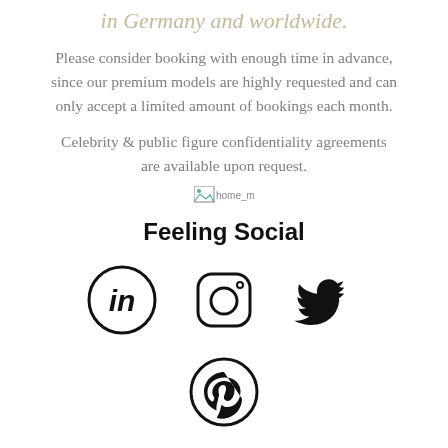in Germany and worldwide.
Please consider booking with enough time in advance, since our premium models are highly requested and can only accept a limited amount of bookings each month.
Celebrity & public figure confidentiality agreements are available upon request.
[Figure (other): Broken image placeholder labeled home_minimal_scp4]
Feeling Social
[Figure (other): Social media icons: LinkedIn, Instagram, Twitter, Pinterest]